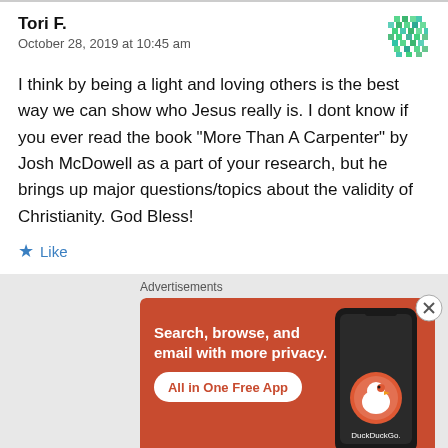Tori F.
October 28, 2019 at 10:45 am
I think by being a light and loving others is the best way we can show who Jesus really is. I dont know if you ever read the book “More Than A Carpenter” by Josh McDowell as a part of your research, but he brings up major questions/topics about the validity of Christianity. God Bless!
Like
Advertisements
[Figure (screenshot): DuckDuckGo advertisement banner: orange background with text 'Search, browse, and email with more privacy. All in One Free App' and a phone image with DuckDuckGo logo]